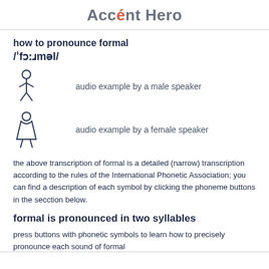Accént Hero
how to pronounce formal
/ˈfɔːɹməl/
[Figure (illustration): Male speaker icon with text: audio example by a male speaker]
[Figure (illustration): Female speaker icon with text: audio example by a female speaker]
the above transcription of formal is a detailed (narrow) transcription according to the rules of the International Phonetic Association; you can find a description of each symbol by clicking the phoneme buttons in the secction below.
formal is pronounced in two syllables
press buttons with phonetic symbols to learn how to precisely pronounce each sound of formal